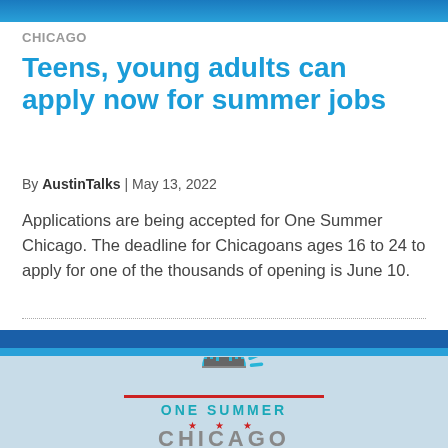CHICAGO
Teens, young adults can apply now for summer jobs
By AustinTalks | May 13, 2022
Applications are being accepted for One Summer Chicago. The deadline for Chicagoans ages 16 to 24 to apply for one of the thousands of opening is June 10.
[Figure (logo): One Summer Chicago logo — sun rays above city skyline silhouette, red horizontal line, text ONE SUMMER in teal, red stars, CHICAGO in large gray letters]